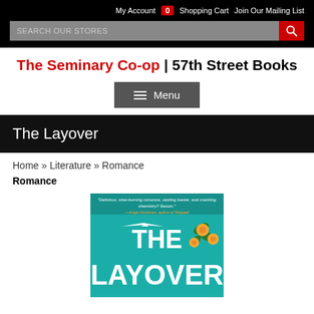My Account  0  Shopping Cart  Join Our Mailing List
SEARCH OUR STORES
The Seminary Co-op | 57th Street Books
≡ Menu
The Layover
Home » Literature » Romance
Romance
[Figure (photo): Book cover of 'The Layover' showing teal/turquoise background with tropical flowers and an airplane silhouette. White large text reads 'THE LAYOVER'. A pull quote at the top reads: 'Delicious, slow-burning romance, sizzling banter, and crackling chemistry? Swoon.' —Angie Hockman, author of Shipped]